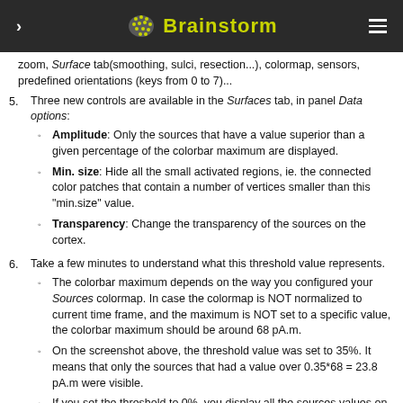Brainstorm
zoom, Surface tab(smoothing, sulci, resection...), colormap, sensors, predefined orientations (keys from 0 to 7)...
Three new controls are available in the Surfaces tab, in panel Data options: Amplitude: Only the sources that have a value superior than a given percentage of the colorbar maximum are displayed. Min. size: Hide all the small activated regions, ie. the connected color patches that contain a number of vertices smaller than this "min.size" value. Transparency: Change the transparency of the sources on the cortex.
Take a few minutes to understand what this threshold value represents. The colorbar maximum depends on the way you configured your Sources colormap. In case the colormap is NOT normalized to current time frame, and the maximum is NOT set to a specific value, the colorbar maximum should be around 68 pA.m. On the screenshot above, the threshold value was set to 35%. It means that only the sources that had a value over 0.35*68 = 23.8 pA.m were visible. If you set the threshold to 0%, you display all the sources values on the cortex surface; and as most of the sources